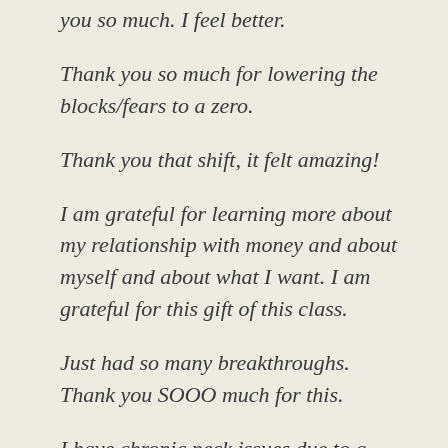you so much. I feel better.
Thank you so much for lowering the blocks/fears to a zero.
Thank you that shift, it felt amazing!
I am grateful for learning more about my relationship with money and about myself and about what I want. I am grateful for this gift of this class.
Just had so many breakthroughs. Thank you SOOO much for this.
I have chronic neck issues due to a